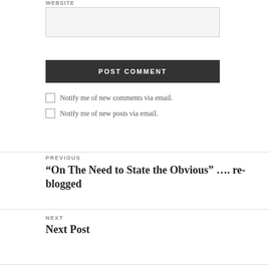WEBSITE
POST COMMENT
Notify me of new comments via email.
Notify me of new posts via email.
PREVIOUS
“On The Need to State the Obvious” …. re-blogged
NEXT
Next Post